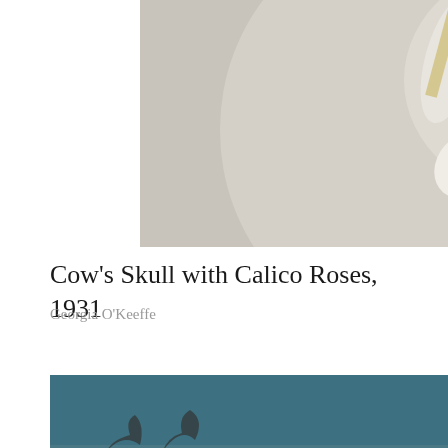[Figure (photo): Georgia O'Keeffe painting: Cow's Skull with Calico Roses, 1931. Shows a cow skull with white roses/flowers against a gray background with dark area below.]
Cow's Skull with Calico Roses, 1931
Georgia O'Keeffe
[Figure (photo): Salvador Dali surrealist painting showing a dreamlike landscape with horses and figures in an earthy, reddish-brown desert setting with teal sky.]